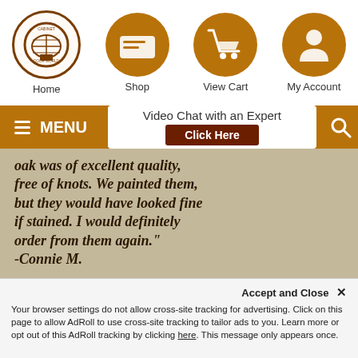[Figure (screenshot): Website navigation header with logo, Shop, View Cart, My Account icons]
[Figure (screenshot): Menu bar with hamburger MENU button, Video Chat with an Expert box with Click Here button, and search icon]
oak was of excellent quality, free of knots. We painted them, but they would have looked fine if stained. I would definitely order from them again." -Connie M.
CONTACT US
1-877-929-2750
Office Hours :
Accept and Close ×
Your browser settings do not allow cross-site tracking for advertising. Click on this page to allow AdRoll to use cross-site tracking to tailor ads to you. Learn more or opt out of this AdRoll tracking by clicking here. This message only appears once.